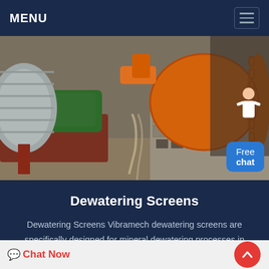MENU
[Figure (photo): Industrial mining/milling equipment including a large orange ball mill and green machinery in a workshop setting]
Dewatering Screens
Dewatering Screens Vibramech dewatering screens are specifically designed for mineral dewatering processes in order to generate a conveyable discharge cake of material This is...
Chat Now